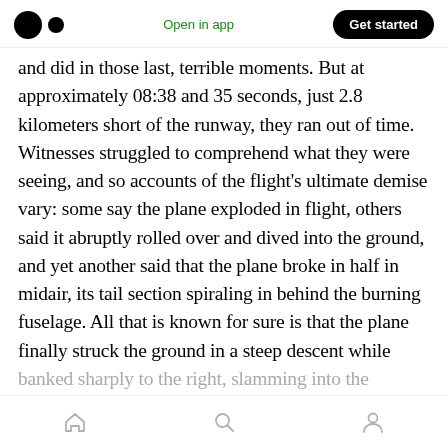Open in app | Get started
and did in those last, terrible moments. But at approximately 08:38 and 35 seconds, just 2.8 kilometers short of the runway, they ran out of time. Witnesses struggled to comprehend what they were seeing, and so accounts of the flight's ultimate demise vary: some say the plane exploded in flight, others said it abruptly rolled over and dived into the ground, and yet another said that the plane broke in half in midair, its tail section spiraling in behind the burning fuselage. All that is known for sure is that the plane finally struck the ground in a steep descent while banked sharply to the right, slamming into the
Home | Search | Profile